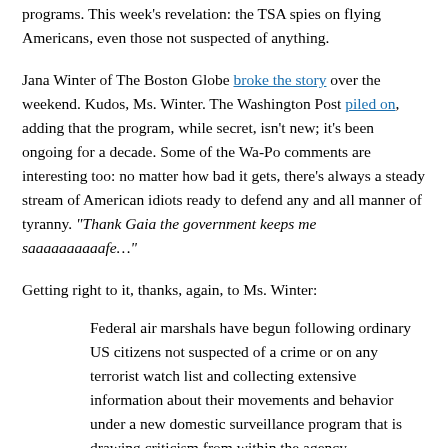programs. This week's revelation: the TSA spies on flying Americans, even those not suspected of anything.
Jana Winter of The Boston Globe broke the story over the weekend. Kudos, Ms. Winter. The Washington Post piled on, adding that the program, while secret, isn't new; it's been ongoing for a decade. Some of the Wa-Po comments are interesting too: no matter how bad it gets, there's always a steady stream of American idiots ready to defend any and all manner of tyranny. "Thank Gaia the government keeps me saaaaaaaaaafe…"
Getting right to it, thanks, again, to Ms. Winter:
Federal air marshals have begun following ordinary US citizens not suspected of a crime or on any terrorist watch list and collecting extensive information about their movements and behavior under a new domestic surveillance program that is drawing criticism from within the agency.